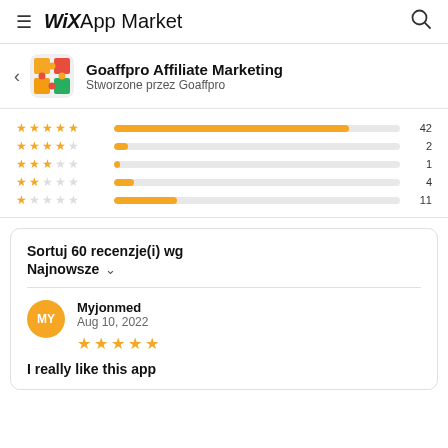WiX App Market
Goaffpro Affiliate Marketing
Stworzone przez Goaffpro
[Figure (bar-chart): Rating distribution]
Sortuj 60 recenzje(i) wg
Najnowsze
Myjonmed
Aug 10, 2022
I really like this app